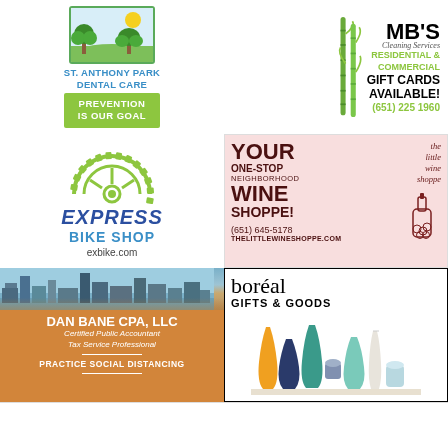[Figure (logo): St. Anthony Park Dental Care ad with tree landscape logo, blue text, and green 'PREVENTION IS OUR GOAL' banner]
[Figure (logo): MB's Cleaning Services ad with bamboo illustration, residential & commercial, gift cards available, (651) 225 1960]
[Figure (logo): Express Bike Shop ad with green gear/sprocket logo, blue italic EXPRESS text, BIKE SHOP, exbike.com]
[Figure (logo): The Little Wine Shoppe ad on pink background, YOUR ONE-STOP NEIGHBORHOOD WINE SHOPPE!, wine bottle illustration, (651) 645-5178, THELITTLEWINESHOPPE.COM]
[Figure (logo): Dan Bane CPA, LLC ad with city skyline photo, orange background, Certified Public Accountant Tax Service Professional, PRACTICE SOCIAL DISTANCING]
[Figure (logo): Boréal Gifts & Goods ad with white background, black border, colorful ceramic vases illustration]
[Figure (other): Partial bottom-left ad, cut off]
[Figure (other): Partial bottom-right ad, cut off]